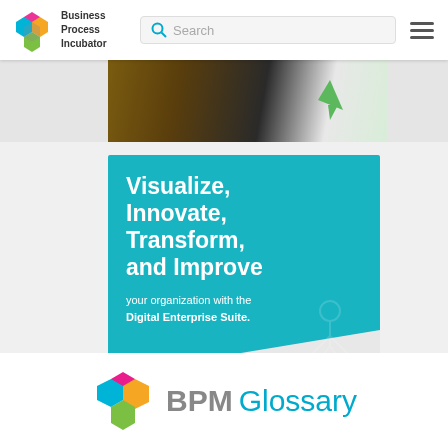Business Process Incubator | Search | Menu
[Figure (photo): Partial photo strip showing desk/notebook with green arrow element]
[Figure (infographic): Trisotech Digital Enterprise Suite advertisement banner with teal background. Text: Visualize, Innovate, Transform, and Improve your organization with the Digital Enterprise Suite. Free Trial button. Trisotech logo.]
[Figure (logo): BPM Glossary logo with hexagonal flower icon in pink, orange, green, blue colors and text 'BPM Glossary']